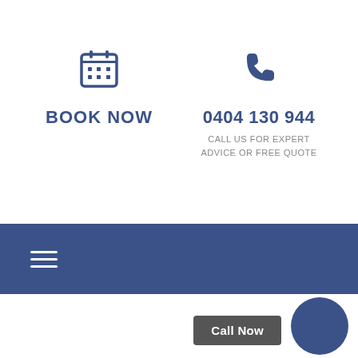[Figure (illustration): Calendar icon in dark blue]
[Figure (illustration): Phone handset icon in dark blue]
BOOK NOW
0404 130 944
CALL US FOR EXPERT ADVICE OR FREE QUOTE
[Figure (illustration): Dark blue navigation bar with hamburger menu icon (three white horizontal lines)]
Call Now
[Figure (illustration): Dark blue circle button]